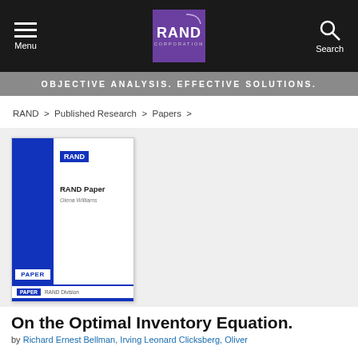Menu | RAND CORPORATION | Search
OBJECTIVE ANALYSIS. EFFECTIVE SOLUTIONS.
RAND > Published Research > Papers >
[Figure (other): Thumbnail cover image of a RAND Paper publication with blue spine and RAND logo]
On the Optimal Inventory Equation.
by Richard Ernest Bellman, Irving Leonard Clicksberg, Oliver